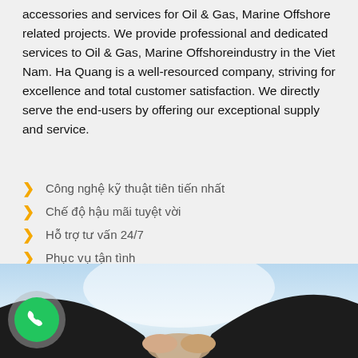accessories and services for Oil & Gas, Marine Offshore related projects. We provide professional and dedicated services to Oil & Gas, Marine Offshoreindustry in the Viet Nam. Ha Quang is a well-resourced company, striving for excellence and total customer satisfaction. We directly serve the end-users by offering our exceptional supply and service.
Công nghệ kỹ thuật tiên tiến nhất
Chế độ hậu mãi tuyệt vời
Hỗ trợ tư vấn 24/7
Phục vụ tận tình
XEM THÊM
[Figure (photo): A handshake scene photographed from below against a bright sky, with a green phone call button overlay in the lower left corner.]